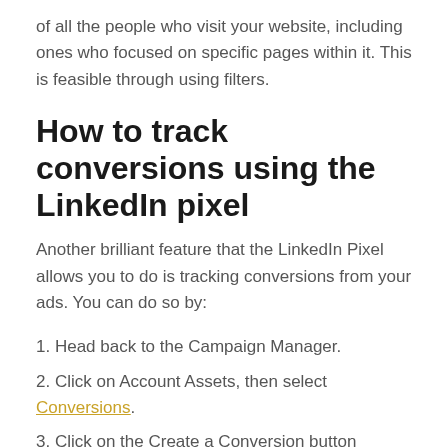of all the people who visit your website, including ones who focused on specific pages within it. This is feasible through using filters.
How to track conversions using the LinkedIn pixel
Another brilliant feature that the LinkedIn Pixel allows you to do is tracking conversions from your ads. You can do so by:
1. Head back to the Campaign Manager.
2. Click on Account Assets, then select Conversions.
3. Click on the Create a Conversion button